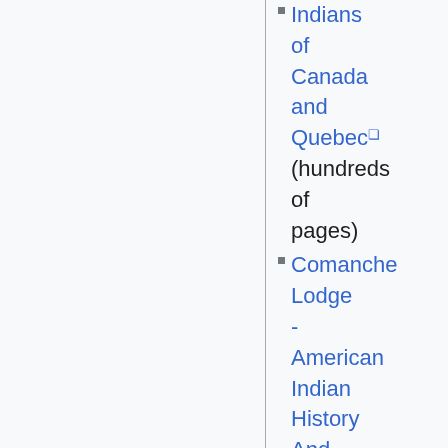Indians of Canada and Quebec (hundreds of pages)
Comanche Lodge - American Indian History And Genealogy